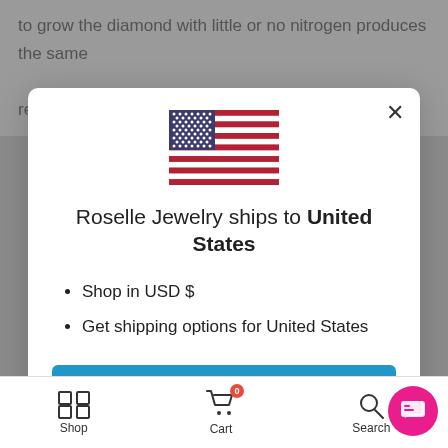to grow the diamond with little or no nitrogen produces the same result.
[Figure (screenshot): Modal dialog showing Roselle Jewelry ships to United States with US flag, shop in USD $ and shipping options bullet points, a blue Shop now button, and a Change shipping country link.]
Roselle Jewelry ships to United States
Shop in USD $
Get shipping options for United States
Shop now
Change shipping country
Shop   Cart   Search